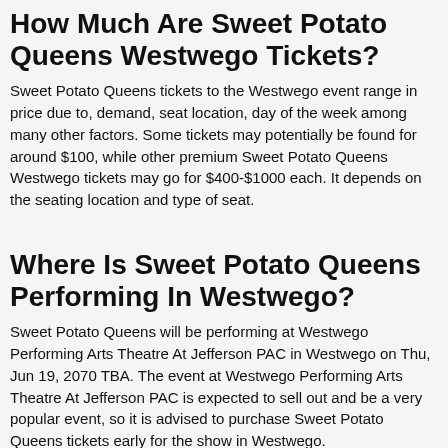How Much Are Sweet Potato Queens Westwego Tickets?
Sweet Potato Queens tickets to the Westwego event range in price due to, demand, seat location, day of the week among many other factors. Some tickets may potentially be found for around $100, while other premium Sweet Potato Queens Westwego tickets may go for $400-$1000 each. It depends on the seating location and type of seat.
Where Is Sweet Potato Queens Performing In Westwego?
Sweet Potato Queens will be performing at Westwego Performing Arts Theatre At Jefferson PAC in Westwego on Thu, Jun 19, 2070 TBA. The event at Westwego Performing Arts Theatre At Jefferson PAC is expected to sell out and be a very popular event, so it is advised to purchase Sweet Potato Queens tickets early for the show in Westwego.
Additionally, it is advised to review early for the show…